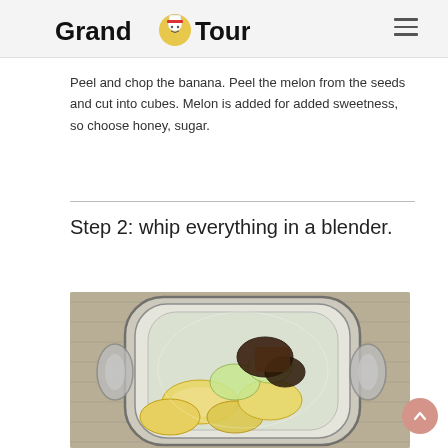Grand Tour
Peel and chop the banana. Peel the melon from the seeds and cut into cubes. Melon is added for added sweetness, so choose honey, sugar.
Step 2: whip everything in a blender.
[Figure (photo): Top-down view of a blender jar containing banana slices and dark chocolate/cocoa pieces on a burlap background]